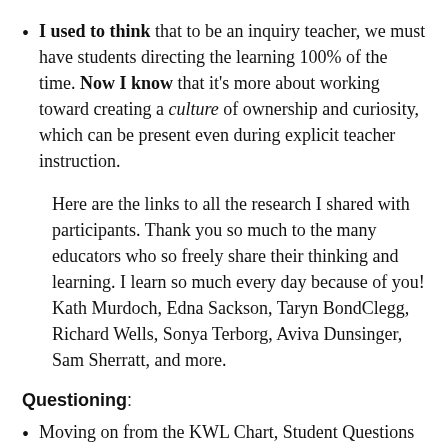I used to think that to be an inquiry teacher, we must have students directing the learning 100% of the time. Now I know that it's more about working toward creating a culture of ownership and curiosity, which can be present even during explicit teacher instruction.
Here are the links to all the research I shared with participants. Thank you so much to the many educators who so freely share their thinking and learning. I learn so much every day because of you! Kath Murdoch, Edna Sackson, Taryn BondClegg, Richard Wells, Sonya Terborg, Aviva Dunsinger, Sam Sherratt, and more.
Questioning:
Moving on from the KWL Chart, Student Questions & Inquiry: https://justwonderingblog.com/2013/06/08/movin